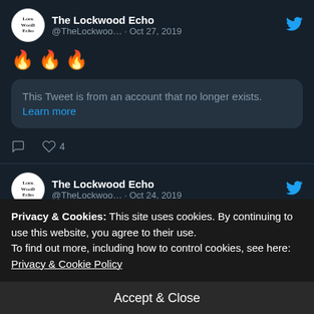[Figure (screenshot): Twitter/X tweet from The Lockwood Echo (@TheLockwoo...) dated Oct 27, 2019. Contains three fire emojis and a quoted tweet notice reading: 'This Tweet is from an account that no longer exists. Learn more'. Shows 4 likes.]
[Figure (screenshot): Twitter/X tweet from The Lockwood Echo (@TheLockwoo...) dated Oct 24, 2019. Contains a link: thelockwoodecho.com/2019/10/24/int...]
Privacy & Cookies: This site uses cookies. By continuing to use this website, you agree to their use.
To find out more, including how to control cookies, see here: Privacy & Cookie Policy
Accept & Close